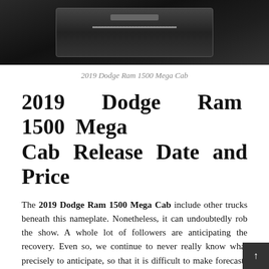[Figure (photo): Interior photo of a 2019 Dodge Ram 1500 Mega Cab, showing dark leather seats and center console from a top-down angle]
2019 Dodge Ram 1500 Mega Cab
2019 Dodge Ram 1500 Mega Cab Release Date and Price
The 2019 Dodge Ram 1500 Mega Cab include other trucks beneath this nameplate. Nonetheless, it can undoubtedly rob the show. A whole lot of followers are anticipating the recovery. Even so, we continue to never really know what precisely to anticipate, so that it is difficult to make forecasts if other customers would like it.
Price of the new 2019 Dodge Ram 1500 Mega Cab is planning to rely on the clipping stage. When it shows up as Big Horn, price begins at close to $41,000. Nevertheless, with 5.7-l Hemi